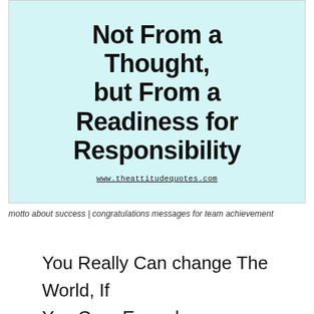[Figure (illustration): Light blue/cyan background image with large hand-drawn style text reading 'Not From a Thought, but From a Readiness for Responsibility' with website URL www.theattitudequotes.com at the bottom]
motto about success | congratulations messages for team achievement
You Really Can change The World, If You Care Enough.